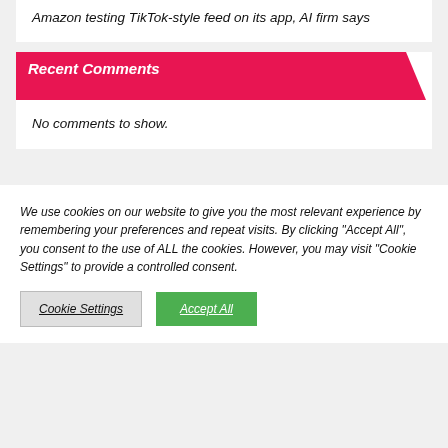Amazon testing TikTok-style feed on its app, AI firm says
Recent Comments
No comments to show.
We use cookies on our website to give you the most relevant experience by remembering your preferences and repeat visits. By clicking "Accept All", you consent to the use of ALL the cookies. However, you may visit "Cookie Settings" to provide a controlled consent.